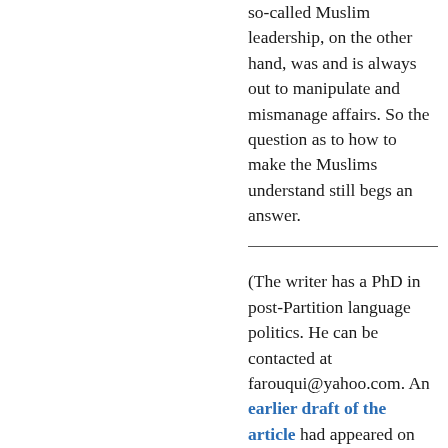so-called Muslim leadership, on the other hand, was and is always out to manipulate and mismanage affairs. So the question as to how to make the Muslims understand still begs an answer.
(The writer has a PhD in post-Partition language politics. He can be contacted at farouqui@yahoo.com. An earlier draft of the article had appeared on